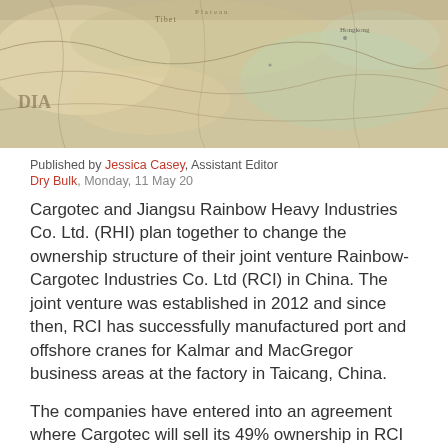[Figure (map): Close-up photo of a vintage/antique map showing part of Asia including regions labeled with text like 'Tibet', 'Plateau', 'Hongkong', 'DIA']
Published by Jessica Casey, Assistant Editor
Dry Bulk, Monday, 11 May 20
Cargotec and Jiangsu Rainbow Heavy Industries Co. Ltd. (RHI) plan together to change the ownership structure of their joint venture Rainbow-Cargotec Industries Co. Ltd (RCI) in China. The joint venture was established in 2012 and since then, RCI has successfully manufactured port and offshore cranes for Kalmar and MacGregor business areas at the factory in Taicang, China.
The companies have entered into an agreement where Cargotec will sell its 49% ownership in RCI to the joint venture partner, and simultaneously acquire certain operations and assets from RHI.